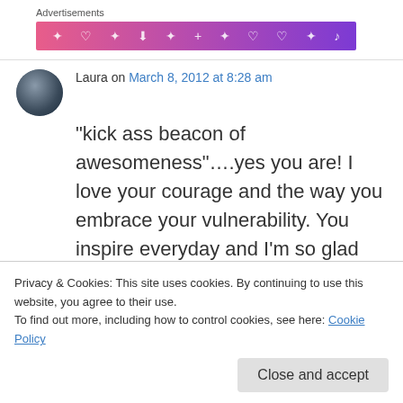Advertisements
[Figure (illustration): Advertisement banner with pink-to-purple gradient and white decorative symbols (hearts, music notes, arrows)]
Laura on March 8, 2012 at 8:28 am
“kick ass beacon of awesomeness”….yes you are! I love your courage and the way you embrace your vulnerability. You inspire everyday and I’m so glad you’ve been brave enough to
Privacy & Cookies: This site uses cookies. By continuing to use this website, you agree to their use.
To find out more, including how to control cookies, see here: Cookie Policy
Close and accept